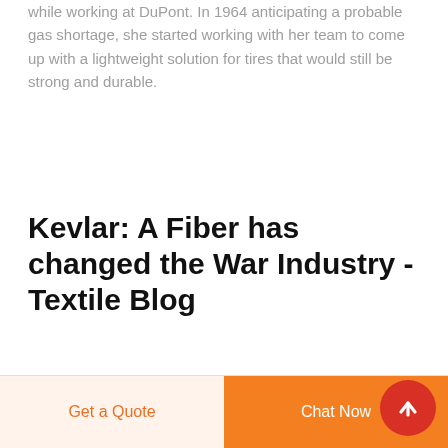while working at DuPont. In 1964 anticipating a probable gas shortage, she started working with her team to come up with a lightweight solution for tires that would still be strong and durable.
Kevlar: A Fiber has changed the War Industry - Textile Blog
[Figure (logo): Partially visible logo icon at bottom left, green arc shape]